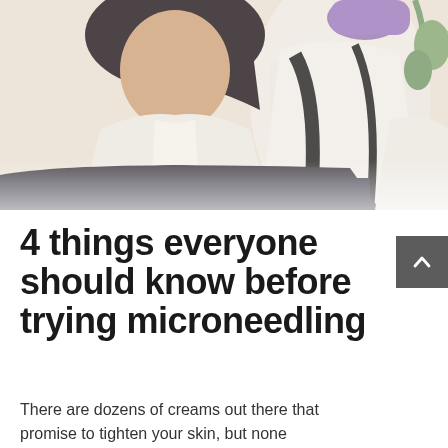[Figure (photo): A woman patient seated in a medical/aesthetic clinic setting, wearing a white cardigan, with a medical professional in a white coat and purple gloves treating her face/hair area. Both figures are near a dark table. The image has a light, warm-toned aesthetic.]
4 things everyone should know before trying microneedling
There are dozens of creams out there that promise to tighten your skin, but none